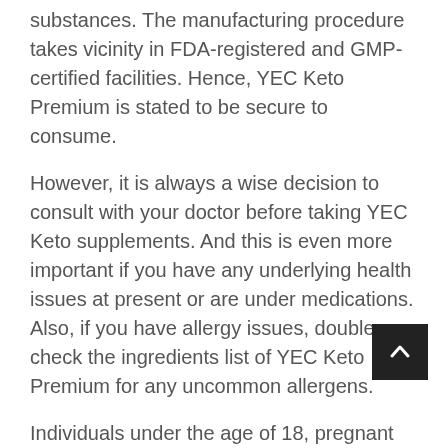substances. The manufacturing procedure takes vicinity in FDA-registered and GMP-certified facilities. Hence, YEC Keto Premium is stated to be secure to consume.
However, it is always a wise decision to consult with your doctor before taking YEC Keto supplements. And this is even more important if you have any underlying health issues at present or are under medications. Also, if you have allergy issues, double-check the ingredients list of YEC Keto Premium for any uncommon allergens.
Individuals under the age of 18, pregnant and lactating women must not use this supplement.
YEC Keto Premium Fat